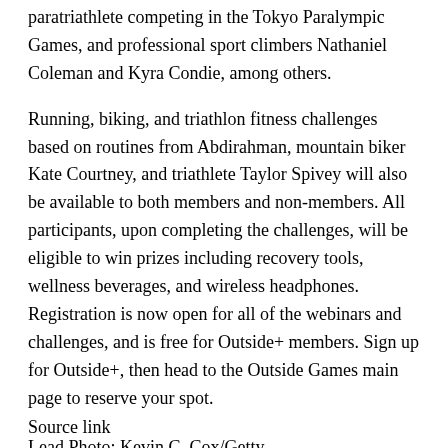paratriathlete competing in the Tokyo Paralympic Games, and professional sport climbers Nathaniel Coleman and Kyra Condie, among others.
Running, biking, and triathlon fitness challenges based on routines from Abdirahman, mountain biker Kate Courtney, and triathlete Taylor Spivey will also be available to both members and non-members. All participants, upon completing the challenges, will be eligible to win prizes including recovery tools, wellness beverages, and wireless headphones. Registration is now open for all of the webinars and challenges, and is free for Outside+ members. Sign up for Outside+, then head to the Outside Games main page to reserve your spot.
Lead Photo: Kevin C. Cox/Getty
Source link